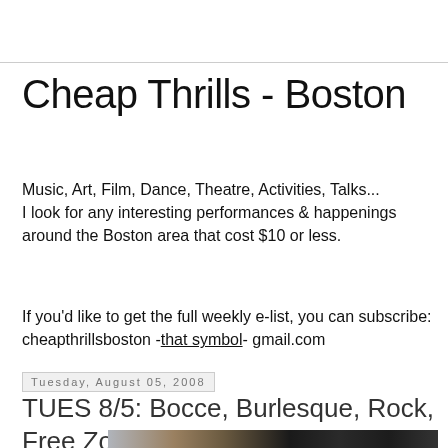Cheap Thrills - Boston
Music, Art, Film, Dance, Theatre, Activities, Talks...
I look for any interesting performances & happenings around the Boston area that cost $10 or less.
If you'd like to get the full weekly e-list, you can subscribe: cheapthrillsboston -that symbol- gmail.com
Tuesday, August 05, 2008
TUES 8/5: Bocce, Burlesque, Rock, Free Zoo
[Figure (photo): Partial photo strip showing sequined or textured fabric material in dark tones]